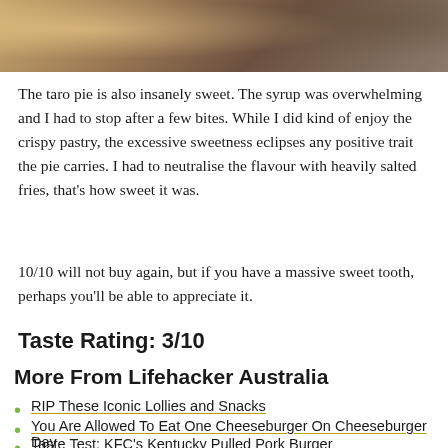[Figure (photo): Close-up photo of food being held, partially cropped at top of page]
The taro pie is also insanely sweet. The syrup was overwhelming and I had to stop after a few bites. While I did kind of enjoy the crispy pastry, the excessive sweetness eclipses any positive trait the pie carries. I had to neutralise the flavour with heavily salted fries, that's how sweet it was.
10/10 will not buy again, but if you have a massive sweet tooth, perhaps you'll be able to appreciate it.
Taste Rating: 3/10
More From Lifehacker Australia
RIP These Iconic Lollies and Snacks
You Are Allowed To Eat One Cheeseburger On Cheeseburger Day
Taste Test: KFC's Kentucky Pulled Pork Burger